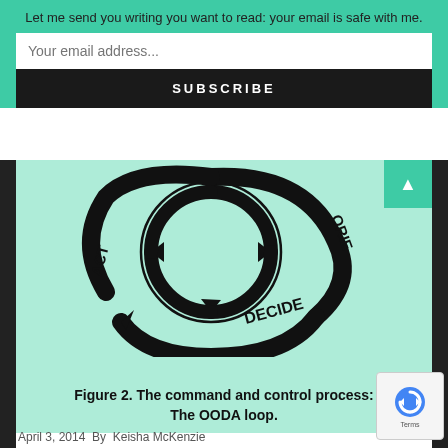Let me send you writing you want to read: your email is safe with me.
Your email address...
SUBSCRIBE
[Figure (flowchart): The OODA loop diagram showing a cyclical process with three arrows forming a cycle, labeled ORIENT (top right), DECIDE (bottom center), and ACT (left), with a circular arrow in the center, on a light teal background.]
Figure 2. The command and control process: The OODA loop.
April 3, 2014  By  Keisha McKenzie